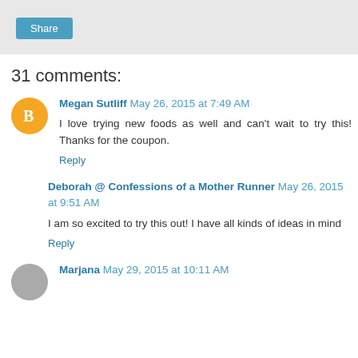[Figure (other): Share button in a gray bar at the top]
31 comments:
Megan Sutliff May 26, 2015 at 7:49 AM
I love trying new foods as well and can't wait to try this! Thanks for the coupon.
Reply
Deborah @ Confessions of a Mother Runner May 26, 2015 at 9:51 AM
I am so excited to try this out! I have all kinds of ideas in mind
Reply
Marjana May 29, 2015 at 10:11 AM